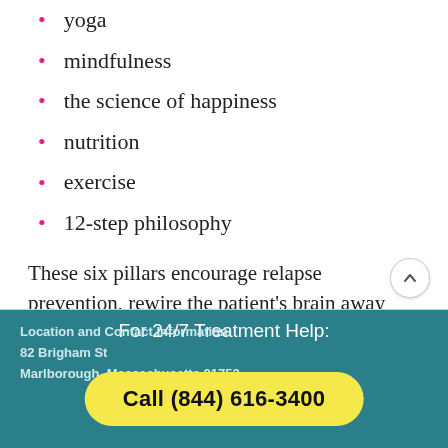yoga
mindfulness
the science of happiness
nutrition
exercise
12-step philosophy
These six pillars encourage relapse prevention, rewire the patient’s brain away from addiction and towards health, enable resiliency in the patient, and strengthen their recovery.
For 24/7 Treatment Help:
Call (844) 616-3400
Location and Contact Information:
82 Brigham St
Marlborough, Massachusetts 01752